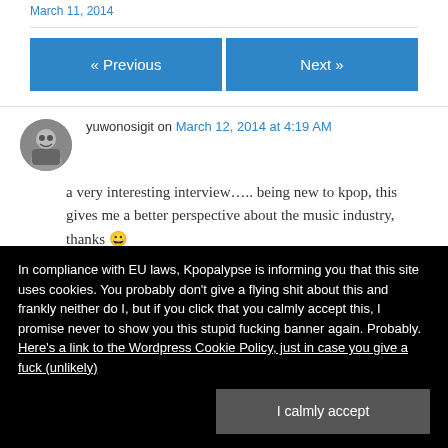March 11, 2014
« Previous
Next »
yuwonosigit on March 12, 2014 at 4:19 AM
a very interesting interview….. being new to kpop, this gives me a better perspective about the music industry, thanks 😀
In compliance with EU laws, Kpopalypse is informing you that this site uses cookies. You probably don't give a flying shit about this and frankly neither do I, but if you click that you calmly accept this, I promise never to show you this stupid fucking banner again. Probably. Here's a link to the Wordpress Cookie Policy, just in case you give a fuck (unlikely)
I calmly accept
the captions.